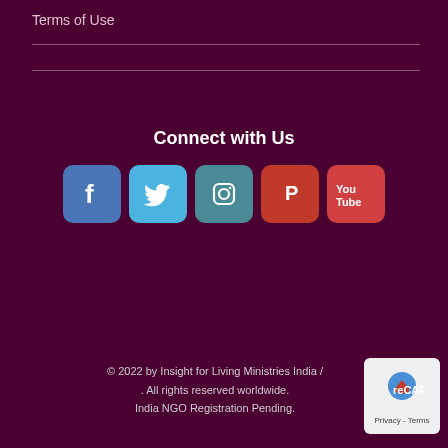Terms of Use
Connect with Us
[Figure (infographic): Row of five social media icon buttons: Facebook (blue), Twitter (light blue), Instagram (teal), Pinterest (red), YouTube (red with 'You Tube' text)]
© 2022 by Insight for Living Ministries India / . All rights reserved worldwide. India NGO Registration Pending.